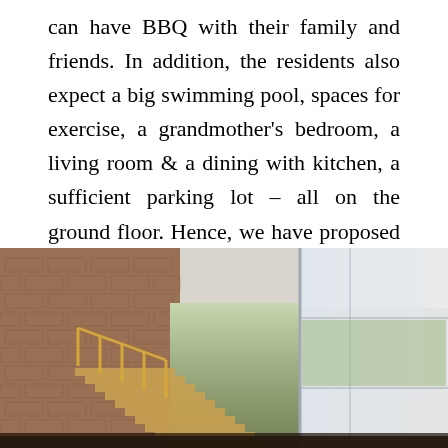can have BBQ with their family and friends. In addition, the residents also expect a big swimming pool, spaces for exercise, a grandmother's bedroom, a living room & a dining with kitchen, a sufficient parking lot – all on the ground floor. Hence, we have proposed to divide the idea of the " large green gardens " into smaller connected gardens.
[Figure (photo): Interior photo of a modern house showing a staircase with wooden railings, brick walls, high ceiling with recessed lighting, large glass window/door on the right, and an open indoor garden or atrium space.]